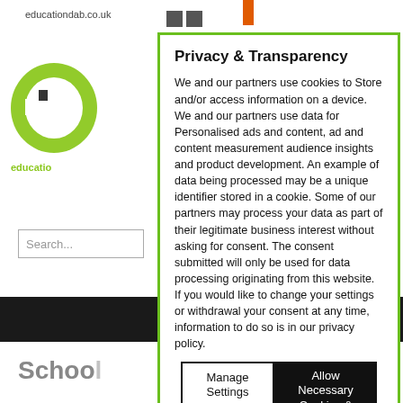educationdab.co.uk
Privacy & Transparency
We and our partners use cookies to Store and/or access information on a device. We and our partners use data for Personalised ads and content, ad and content measurement audience insights and product development. An example of data being processed may be a unique identifier stored in a cookie. Some of our partners may process your data as part of their legitimate business interest without asking for consent. The consent submitted will only be used for data processing originating from this website. If you would like to change your settings or withdrawal your consent at any time, information to do so is in our privacy policy.
Manage Settings
Allow Necessary Cookies & Continue
School